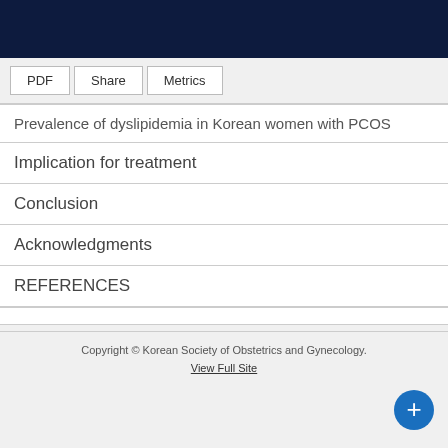Prevalence of dyslipidemia in Korean women with PCOS
Implication for treatment
Conclusion
Acknowledgments
REFERENCES
Copyright © Korean Society of Obstetrics and Gynecology.
View Full Site